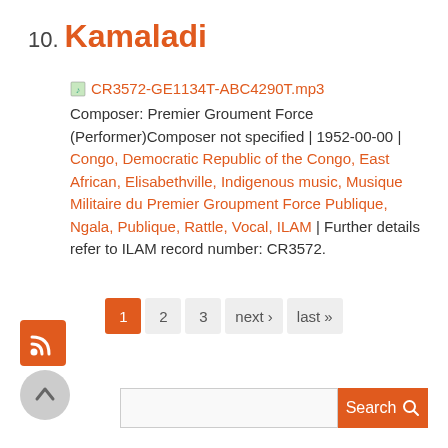10. Kamaladi
CR3572-GE1134T-ABC4290T.mp3
Composer: Premier Groument Force (Performer)Composer not specified | 1952-00-00 | Congo, Democratic Republic of the Congo, East African, Elisabethville, Indigenous music, Musique Militaire du Premier Groupment Force Publique, Ngala, Publique, Rattle, Vocal, ILAM | Further details refer to ILAM record number: CR3572.
1 2 3 next › last »
[Figure (other): RSS feed icon (orange square with white RSS symbol)]
[Figure (other): Back to top button (grey circle with upward arrow)]
Search